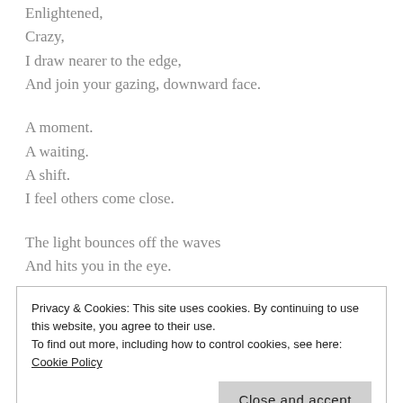Enlightened,
Crazy,
I draw nearer to the edge,
And join your gazing, downward face.
A moment.
A waiting.
A shift.
I feel others come close.
The light bounces off the waves
And hits you in the eye.
Privacy & Cookies: This site uses cookies. By continuing to use this website, you agree to their use.
To find out more, including how to control cookies, see here: Cookie Policy
Close and accept
To see what we could see